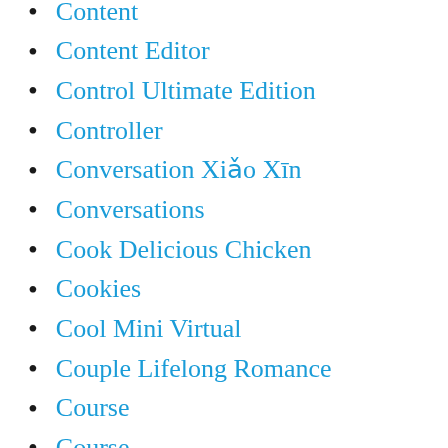Content
Content Editor
Control Ultimate Edition
Controller
Conversation Xiǎo Xīn
Conversations
Cook Delicious Chicken
Cookies
Cool Mini Virtual
Couple Lifelong Romance
Course
Course –
Course – Chance
Course – Colloquial
Course – Romance
Course – Talking
Cover